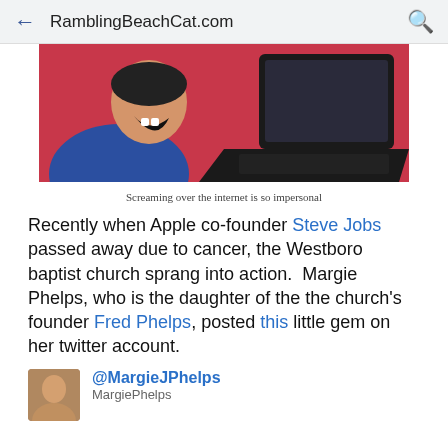RamblingBeachCat.com
[Figure (photo): Person screaming at a laptop computer against a pink/red background]
Screaming over the internet is so impersonal
Recently when Apple co-founder Steve Jobs passed away due to cancer, the Westboro baptist church sprang into action.  Margie Phelps, who is the daughter of the the church's founder Fred Phelps, posted this little gem on her twitter account.
@MargieJPhelps
MargiePhelps